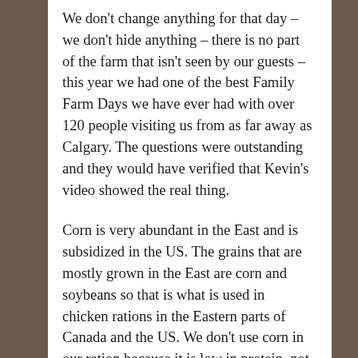We don't change anything for that day – we don't hide anything – there is no part of the farm that isn't seen by our guests – this year we had one of the best Family Farm Days we have ever had with over 120 people visiting us from as far away as Calgary. The questions were outstanding and they would have verified that Kevin's video showed the real thing.
Corn is very abundant in the East and is subsidized in the US. The grains that are mostly grown in the East are corn and soybeans so that is what is used in chicken rations in the Eastern parts of Canada and the US. We don't use corn in our ration because it is low in protein, not local and our nutritionist advises that the best ration for poultry includes a diversity of small